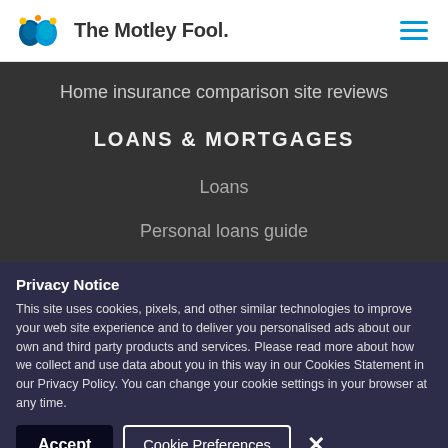[Figure (logo): The Motley Fool logo with jester hat icon and wordmark]
[Figure (other): Hamburger menu icon (three horizontal blue lines)]
Home insurance comparison site reviews
LOANS & MORTGAGES
Loans
Personal loans guide
Privacy Notice
This site uses cookies, pixels, and other similar technologies to improve your web site experience and to deliver you personalised ads about our own and third party products and services. Please read more about how we collect and use data about you in this way in our Cookies Statement in our Privacy Policy. You can change your cookie settings in your browser at any time.
Accept
Cookie Preferences